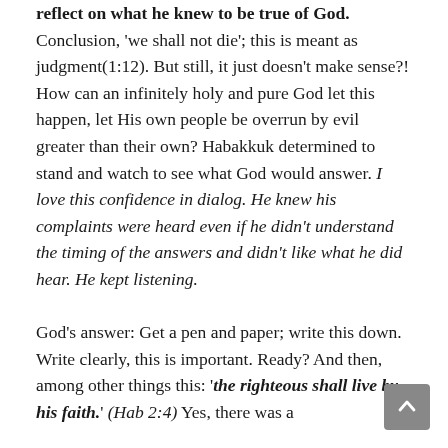reflect on what he knew to be true of God. Conclusion, 'we shall not die'; this is meant as judgment(1:12). But still, it just doesn't make sense?! How can an infinitely holy and pure God let this happen, let His own people be overrun by evil greater than their own? Habakkuk determined to stand and watch to see what God would answer. I love this confidence in dialog. He knew his complaints were heard even if he didn't understand the timing of the answers and didn't like what he did hear. He kept listening.

God's answer: Get a pen and paper; write this down. Write clearly, this is important. Ready? And then, among other things this: 'the righteous shall live by his faith.' (Hab 2:4) Yes, there was a